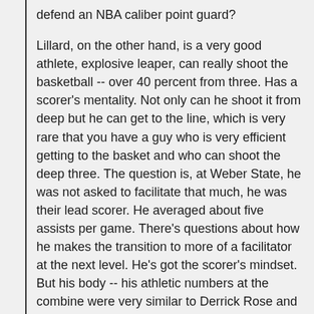defend an NBA caliber point guard?
Lillard, on the other hand, is a very good athlete, explosive leaper, can really shoot the basketball -- over 40 percent from three. Has a scorer's mentality. Not only can he shoot it from deep but he can get to the line, which is very rare that you have a guy who is very efficient getting to the basket and who can shoot the deep three. The question is, at Weber State, he was not asked to facilitate that much, he was their lead scorer. He averaged about five assists per game. There's questions about how he makes the transition to more of a facilitator at the next level. He's got the scorer's mindset. But his body -- his athletic numbers at the combine were very similar to Derrick Rose and the same sort of mentality.
Lillard is on the board with the Raptors at No. 8. He's